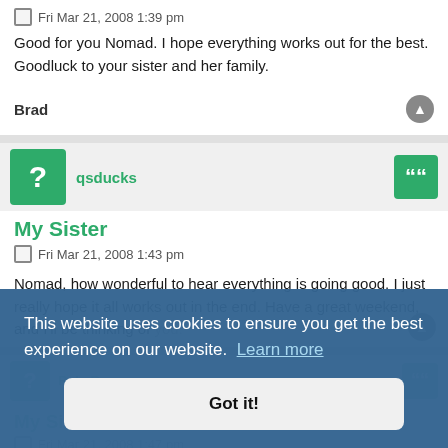Fri Mar 21, 2008 1:39 pm
Good for you Nomad. I hope everything works out for the best. Goodluck to your sister and her family.
Brad
qsducks
My Sister
Fri Mar 21, 2008 1:43 pm
Nomad, how wonderful to hear everything is going good. I just really hope it all works out in the end. Have a great weekend, and I'll be thinking of you.
My Sister
Fri Mar 21, 2008 1:47 pm
Great News Nomad :-4
This website uses cookies to ensure you get the best experience on our website. Learn more
Got it!